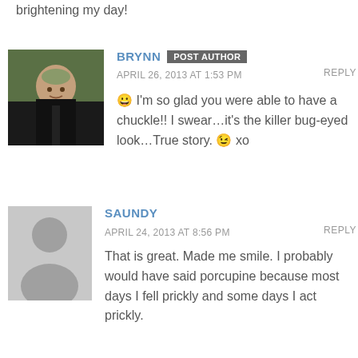brightening my day!
BRYNN  POST AUTHOR
APRIL 26, 2013 AT 1:53 PM
REPLY
😀 I'm so glad you were able to have a chuckle!! I swear…it's the killer bug-eyed look…True story. 😉 xo
SAUNDY
APRIL 24, 2013 AT 8:56 PM
REPLY
That is great. Made me smile. I probably would have said porcupine because most days I fell prickly and some days I act prickly.